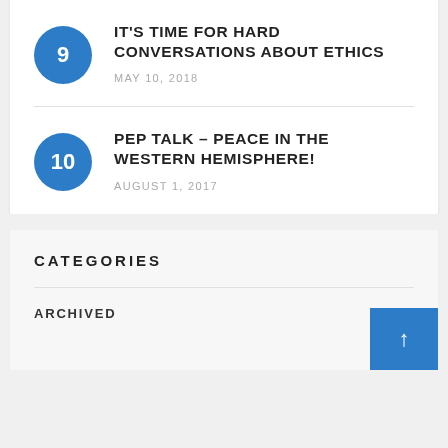9 — IT'S TIME FOR HARD CONVERSATIONS ABOUT ETHICS — MAY 10, 2018
10 — PEP TALK – PEACE IN THE WESTERN HEMISPHERE! — AUGUST 1, 2017
CATEGORIES
ARCHIVED